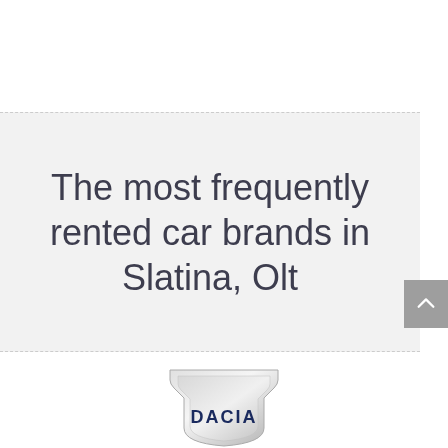The most frequently rented car brands in Slatina, Olt
[Figure (logo): Dacia car brand logo — a shield shape in silver/chrome with the word DACIA in dark blue letters, partially visible at the bottom of the page]